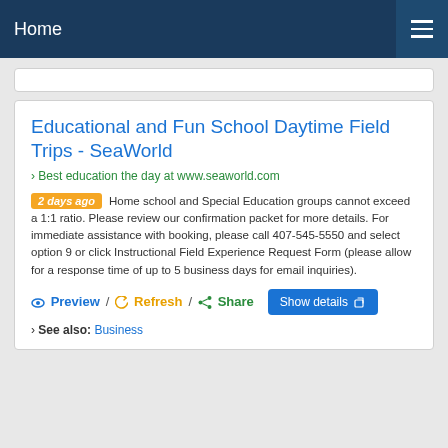Home
Educational and Fun School Daytime Field Trips - SeaWorld
› Best education the day at www.seaworld.com
2 days ago Home school and Special Education groups cannot exceed a 1:1 ratio. Please review our confirmation packet for more details. For immediate assistance with booking, please call 407-545-5550 and select option 9 or click Instructional Field Experience Request Form (please allow for a response time of up to 5 business days for email inquiries).
Preview / Refresh / Share
› See also: Business